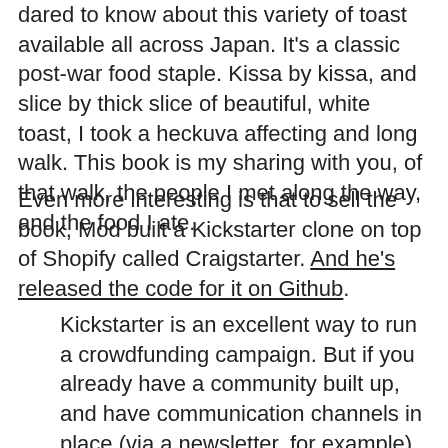dared to know about this variety of toast available all across Japan. It’s a classic post-war food staple. Kissa by kissa, and slice by thick slice of beautiful, white toast, I took a heckuva affecting and long walk. This book is my sharing with you, of that walk, the people I met along the way, and the food I ate.
Even more interesting is that to sell the book, Mod built a Kickstarter clone on top of Shopify called Craigstarter. And he’s released the code for it on Github.
Kickstarter is an excellent way to run a crowdfunding campaign. But if you already have a community built up, and have communication channels in place (via a newsletter, for example), and already run an online shop, then Kickstarter can be unnecessarily cumbersome. Kickstarter’s 10% fee is also quite hefty. By leaning on Shopify’s